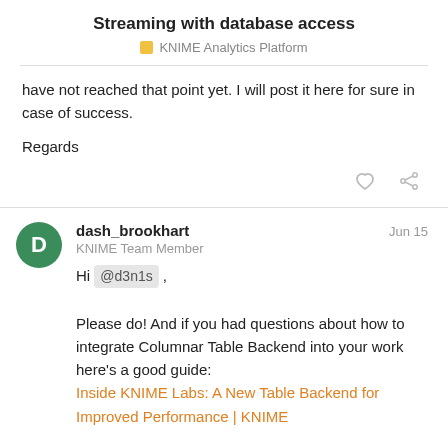Streaming with database access
KNIME Analytics Platform
have not reached that point yet. I will post it here for sure in case of success.
Regards
dash_brookhart  Jun 15
KNIME Team Member
Hi @d3n1s ,

Please do! And if you had questions about how to integrate Columnar Table Backend into your work here's a good guide:
Inside KNIME Labs: A New Table Backend for Improved Performance | KNIME

Cheers,
Dash